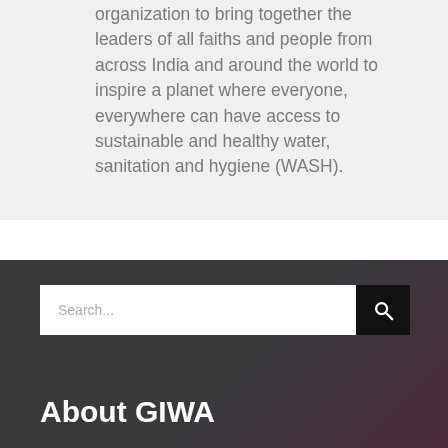organization to bring together the leaders of all faiths and people from across India and around the world to inspire a planet where everyone, everywhere can have access to sustainable and healthy water, sanitation and hygiene (WASH).
[Figure (screenshot): Search bar with text input placeholder 'Search...' and a black search button with magnifying glass icon, on a dark gradient background]
About GIWA